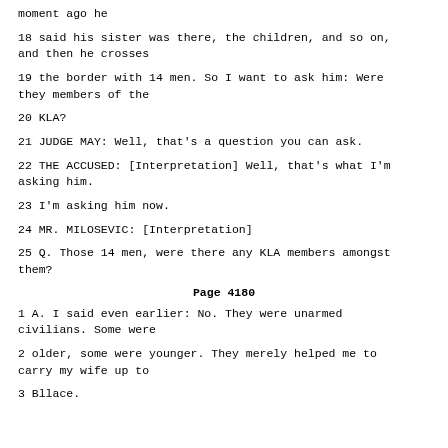moment ago he
18 said his sister was there, the children, and so on, and then he crosses
19 the border with 14 men. So I want to ask him: Were they members of the
20 KLA?
21 JUDGE MAY: Well, that's a question you can ask.
22 THE ACCUSED: [Interpretation] Well, that's what I'm asking him.
23 I'm asking him now.
24 MR. MILOSEVIC: [Interpretation]
25 Q. Those 14 men, were there any KLA members amongst them?
Page 4180
1 A. I said even earlier: No. They were unarmed civilians. Some were
2 older, some were younger. They merely helped me to carry my wife up to
3 Bllace.